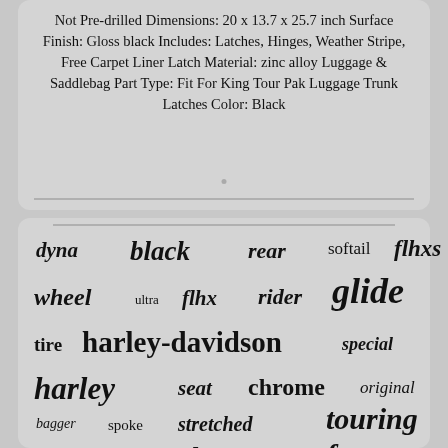Not Pre-drilled Dimensions: 20 x 13.7 x 25.7 inch Surface Finish: Gloss black Includes: Latches, Hinges, Weather Stripe, Free Carpet Liner Latch Material: zinc alloy Luggage & Saddlebag Part Type: Fit For King Tour Pak Luggage Trunk Latches Color: Black
[Figure (infographic): Word cloud with Harley-Davidson motorcycle related terms in varying sizes and italic/bold styles: dyna, black, rear, softail, flhxs, wheel, ultra, flhx, rider, glide, tire, harley-davidson, special, harley, seat, chrome, original, bagger, spoke, stretched, touring, exhaust, fairing, electra, front]